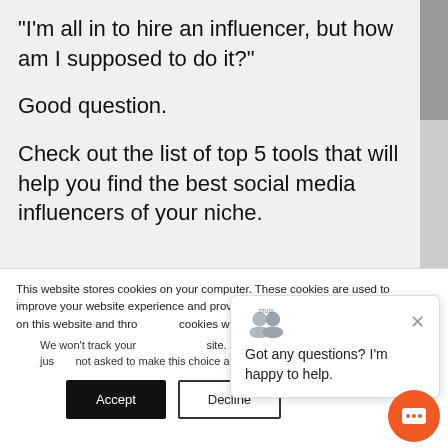"I'm all in to hire an influencer, but how am I supposed to do it?"
Good question.
Check out the list of top 5 tools that will help you find the best social media influencers of your niche.
This website stores cookies on your computer. These cookies are used to improve your website experience and provide more personalized services to you, both on this website and through other media. To find out more about the cookies we use, see our Privacy P...
We won't track your information when you visit our site. But in order to comply with your preferences, we'll have to use just one tiny cookie so that you're not asked to make this choice again.
Accept
Decline
Got any questions? I'm happy to help.